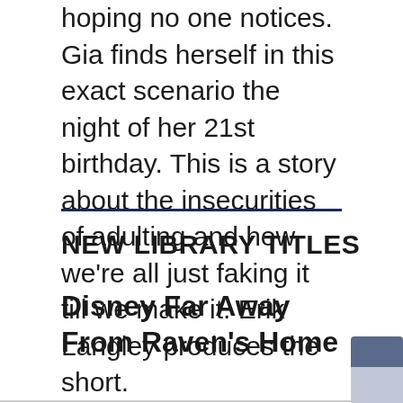hoping no one notices. Gia finds herself in this exact scenario the night of her 21st birthday. This is a story about the insecurities of adulting and how we're all just faking it till we make it. Erik Langley produces the short.
NEW LIBRARY TITLES
Disney Far Away From Raven's Home